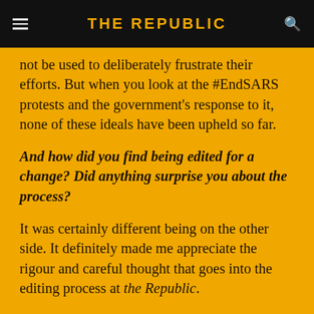THE REPUBLIC
not be used to deliberately frustrate their efforts. But when you look at the #EndSARS protests and the government's response to it, none of these ideals have been upheld so far.
And how did you find being edited for a change? Did anything surprise you about the process?
It was certainly different being on the other side. It definitely made me appreciate the rigour and careful thought that goes into the editing process at the Republic.
What three books should we be reading to understand